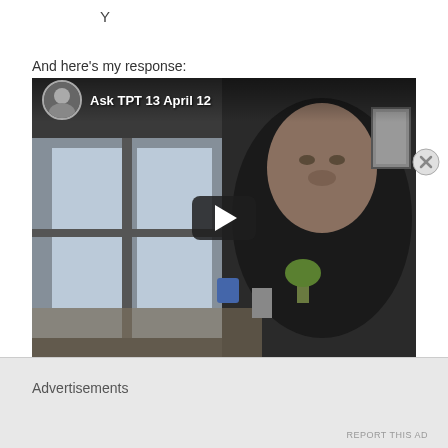Y
And here's my response:
[Figure (screenshot): YouTube video embed showing a man in a dark sweater sitting in an office/home setting. Video title reads 'Ask TPT 13 April 12' with a channel avatar thumbnail in the top-left corner. A play button is overlaid in the center of the video.]
Advertisements
REPORT THIS AD